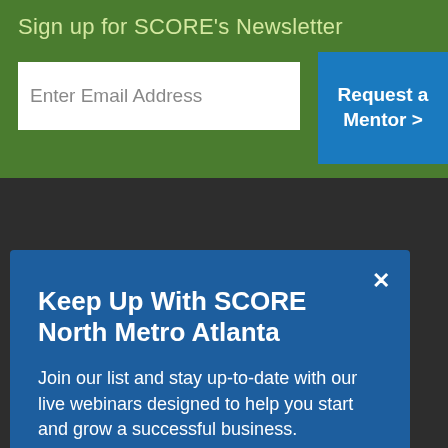Sign up for SCORE's Newsletter
Enter Email Address
Request a Mentor >
Find a
Keep Up With SCORE North Metro Atlanta
Join our list and stay up-to-date with our live webinars designed to help you start and grow a successful business.
email address
SUBMIT
Find a
Location
Take a